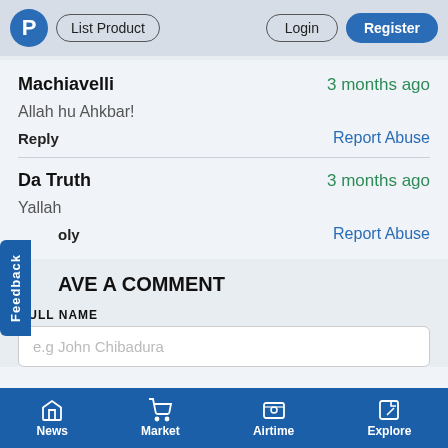P | List Product | Login | Register
Machiavelli — 3 months ago
Allah hu Ahkbar!
Reply | Report Abuse
Da Truth — 3 months ago
Yallah
Reply | Report Abuse
LEAVE A COMMENT
FULL NAME
e.g John Chibadura
News | Market | Airtime | Explore